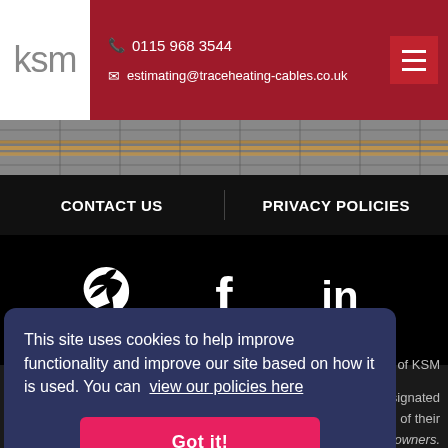KSM | 0115 968 3544 | estimating@traceheating-cables.co.uk
[Figure (photo): Photo strip showing trace heating cables on a metal mesh surface]
CONTACT US   PRIVACY POLICIES
[Figure (infographic): Social media icons: Twitter bird, Facebook f, LinkedIn in — white on black background]
This site uses cookies to help improve functionality and improve our site based on how it is used. You can view our policies here
Got it!
of KSM
esignated
of their
respective owners.